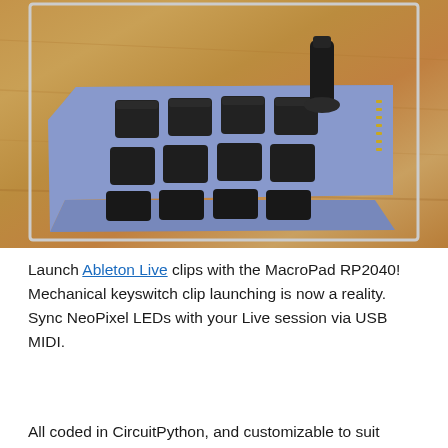[Figure (photo): A blue 3D-printed MacroPad RP2040 with black mechanical keyswitches (4x3 grid) and a black rotary encoder knob on top, sitting on a wooden table surface.]
Launch Ableton Live clips with the MacroPad RP2040! Mechanical keyswitch clip launching is now a reality. Sync NeoPixel LEDs with your Live session via USB MIDI.
All coded in CircuitPython, and customizable to suit